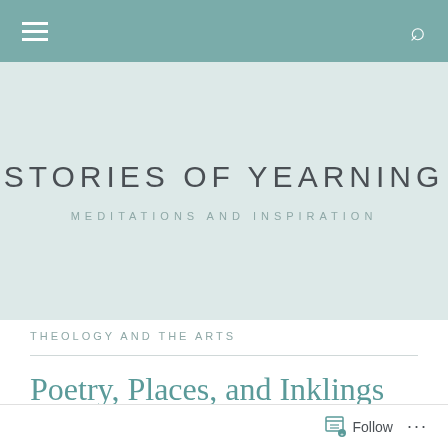Navigation bar with menu and search icons
STORIES OF YEARNING
MEDITATIONS AND INSPIRATION
THEOLOGY AND THE ARTS
Poetry, Places, and Inklings
Follow ...